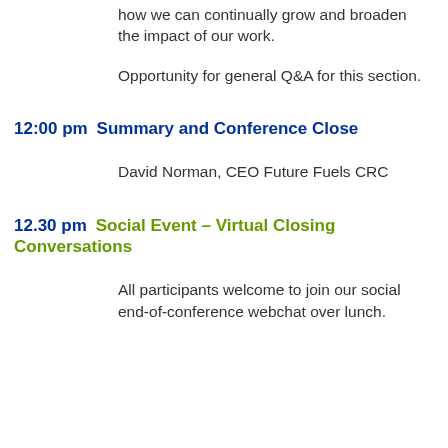how we can continually grow and broaden the impact of our work.
Opportunity for general Q&A for this section.
12:00 pm  Summary and Conference Close
David Norman, CEO Future Fuels CRC
12.30 pm  Social Event – Virtual Closing Conversations
All participants welcome to join our social end-of-conference webchat over lunch.